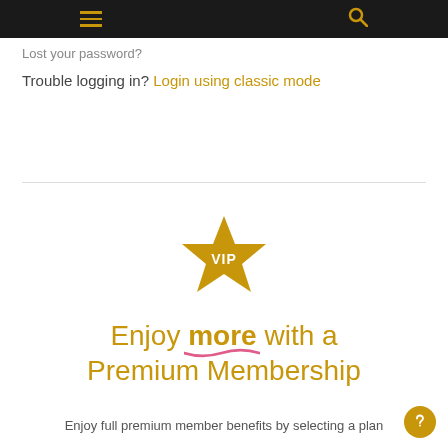Navigation bar with hamburger menu and search icon
Lost your password?
Trouble logging in? Login using classic mode
[Figure (illustration): VIP gold star badge with text 'VIP' in white]
Enjoy more with a Premium Membership
Enjoy full premium member benefits by selecting a plan